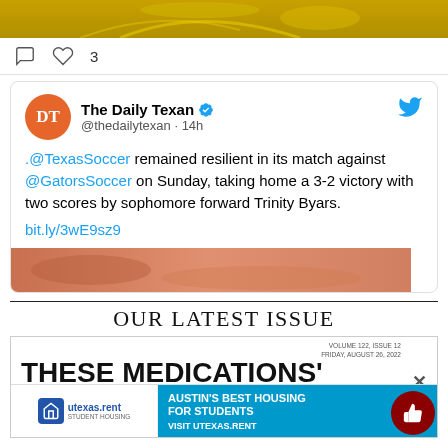[Figure (photo): Top portion of a social media post showing a sports/action image with yellow and gold tones]
♡ 3
[Figure (screenshot): Tweet from @thedailytexan (The Daily Texan) posted 14h ago: '.@TexasSoccer remained resilient in its match against @GatorsSoccer on Sunday, taking home a 3-2 victory with two scores by sophomore forward Trinity Byars. bit.ly/3wE9sz9']
OUR LATEST ISSUE
[Figure (photo): Partial front page of The Daily Texan newspaper showing headline 'THESE MEDICATIONS'' with volume/issue info and a close button, overlaid by a utexas.rent student housing advertisement]
[Figure (infographic): Advertisement banner: utexas.rent student housing ad with text 'AUSTIN'S BEST HOUSING FOR STUDENTS - VISIT UTEXAS.RENT']